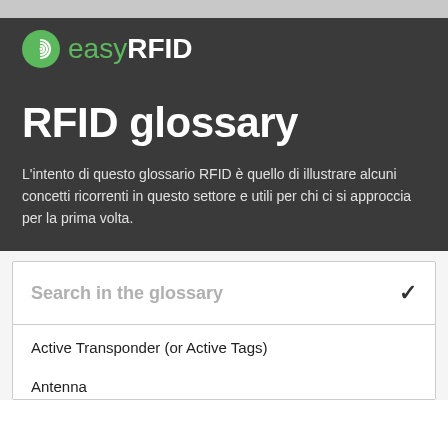[Figure (logo): easyRFID logo with green circle icon and text]
RFID glossary
L'intento di questo glossario RFID è quello di illustrare alcuni concetti ricorrenti in questo settore e utili per chi ci si approccia per la prima volta.
Search in the glossary
Active Transponder (or Active Tags)
Antenna